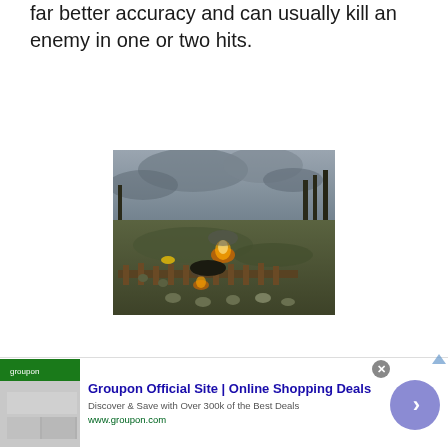far better accuracy and can usually kill an enemy in one or two hits.
[Figure (photo): Screenshot from a WWII video game showing soldiers in a battle scene with trenches, smoke, fire, and explosions in a dark forested environment.]
Groupon Official Site | Online Shopping Deals
Discover & Save with Over 300k of the Best Deals
www.groupon.com